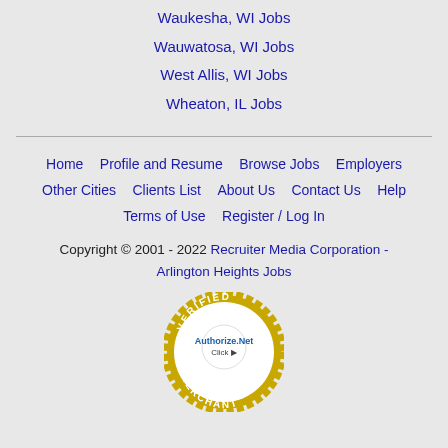Waukesha, WI Jobs
Wauwatosa, WI Jobs
West Allis, WI Jobs
Wheaton, IL Jobs
Home  Profile and Resume  Browse Jobs  Employers  Other Cities  Clients List  About Us  Contact Us  Help  Terms of Use  Register / Log In
Copyright © 2001 - 2022 Recruiter Media Corporation - Arlington Heights Jobs
[Figure (logo): Authorize.Net Verified Merchant badge — a circular gold seal with 'VERIFIED' at top, 'MERCHANT' at bottom, 'Authorize.Net' in blue in the center, and 'Click' with arrow below it.]